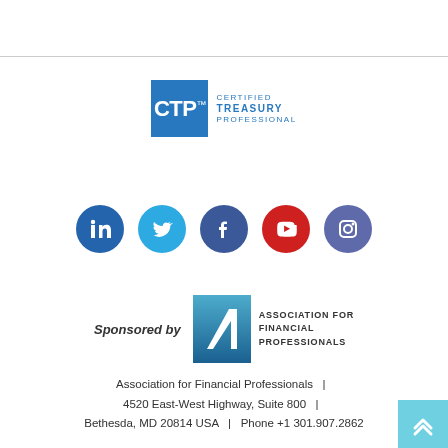[Figure (logo): CTP Certified Treasury Professional logo — blue square with CTP text and label to the right]
[Figure (logo): Social media icons row: LinkedIn (blue circle), Twitter (light blue circle), Facebook (dark blue circle), YouTube (red circle), Instagram (dark blue-purple circle)]
[Figure (logo): AFP Association for Financial Professionals logo with gradient teal-blue square and slash mark, next to text 'Sponsored by']
Association for Financial Professionals  |  4520 East-West Highway, Suite 800  |  Bethesda, MD 20814 USA  |  Phone +1 301.907.2862